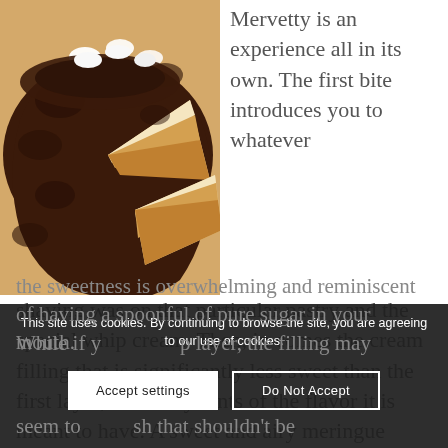[Figure (photo): A layered chocolate cake with cream filling, partially sliced to show the interior layers, topped with whipped cream dollops.]
Mervetty is an experience all in its own. The first bite introduces you to whatever shaving was on that particular pastry and the special whip cream. Then, in comes the cream filling that is significantly less sweet than the first layer, with only hints of the flavor it is meant to have. A sweet and airy meringue layer awaits you at the very bottom. If you eat the meringue first, the sweetness is overwhelming and reminiscent of having a spoonful of pure sugar in your mouth. While if you start with the top layer, the filling may seem to...ish that shouldn't be
This site uses cookies. By continuing to browse the site, you are agreeing to our use of cookies.